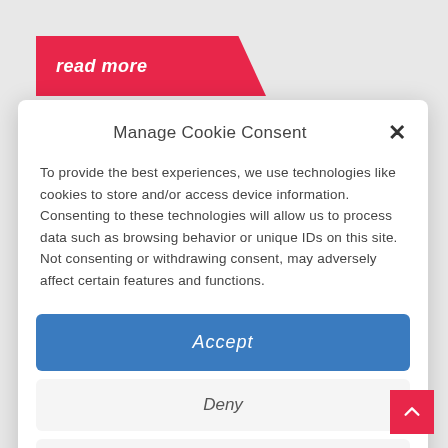[Figure (screenshot): Red parallelogram banner with italic bold white text 'read more']
Manage Cookie Consent
To provide the best experiences, we use technologies like cookies to store and/or access device information. Consenting to these technologies will allow us to process data such as browsing behavior or unique IDs on this site. Not consenting or withdrawing consent, may adversely affect certain features and functions.
Accept
Deny
View preferences
Cookie Policy